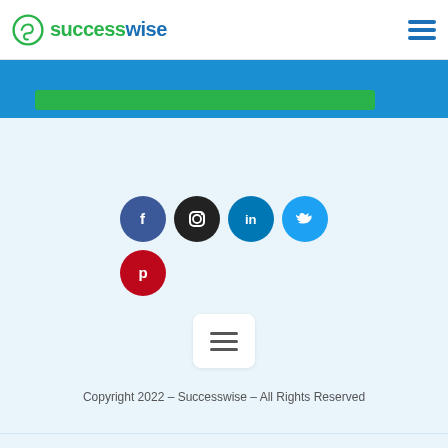successwise logo and navigation menu
[Figure (screenshot): Blue banner with green button element at top]
[Figure (infographic): Social media icons: Facebook (blue circle), Instagram (dark circle), LinkedIn (teal circle), Twitter (light blue circle), Pinterest (red circle)]
[Figure (infographic): Hamburger menu icon in white rounded rectangle box]
Copyright 2022 – Successwise – All Rights Reserved